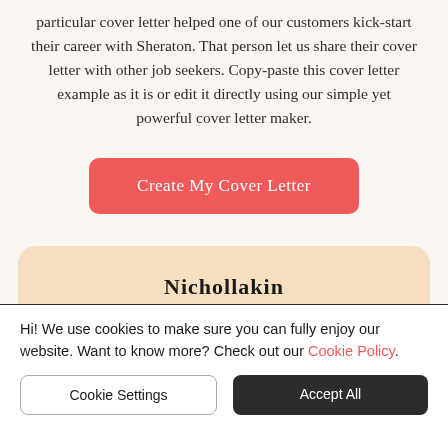particular cover letter helped one of our customers kick-start their career with Sheraton. That person let us share their cover letter with other job seekers. Copy-paste this cover letter example as it is or edit it directly using our simple yet powerful cover letter maker.
[Figure (other): A red/coral rounded button labeled 'Create My Cover Letter']
[Figure (other): A partially visible peach/tan card area with bold partially visible text at the bottom edge]
Hi! We use cookies to make sure you can fully enjoy our website. Want to know more? Check out our Cookie Policy.
Cookie Settings
Accept All